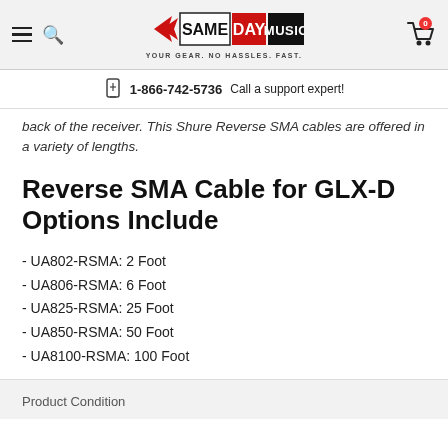Same Day Music — YOUR GEAR. NO HASSLES. FAST. | 1-866-742-5736 Call a support expert!
back of the receiver. This Shure Reverse SMA cables are offered in a variety of lengths.
Reverse SMA Cable for GLX-D Options Include
- UA802-RSMA: 2 Foot
- UA806-RSMA: 6 Foot
- UA825-RSMA: 25 Foot
- UA850-RSMA: 50 Foot
- UA8100-RSMA: 100 Foot
Product Condition